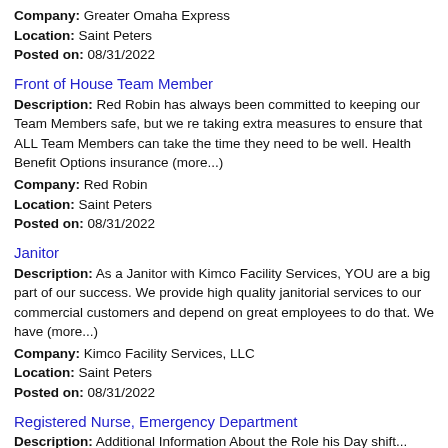Company: Greater Omaha Express
Location: Saint Peters
Posted on: 08/31/2022
Front of House Team Member
Description: Red Robin has always been committed to keeping our Team Members safe, but we re taking extra measures to ensure that ALL Team Members can take the time they need to be well. Health Benefit Options insurance (more...)
Company: Red Robin
Location: Saint Peters
Posted on: 08/31/2022
Janitor
Description: As a Janitor with Kimco Facility Services, YOU are a big part of our success. We provide high quality janitorial services to our commercial customers and depend on great employees to do that. We have (more...)
Company: Kimco Facility Services, LLC
Location: Saint Peters
Posted on: 08/31/2022
Registered Nurse, Emergency Department
Description: Additional Information About the Role his Day shift...